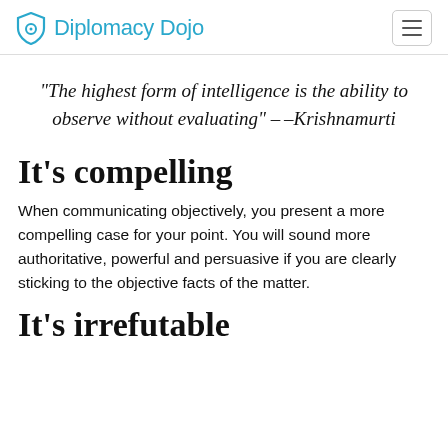Diplomacy Dojo
"The highest form of intelligence is the ability to observe without evaluating" --Krishnamurti
It's compelling
When communicating objectively, you present a more compelling case for your point. You will sound more authoritative, powerful and persuasive if you are clearly sticking to the objective facts of the matter.
It's irrefutable